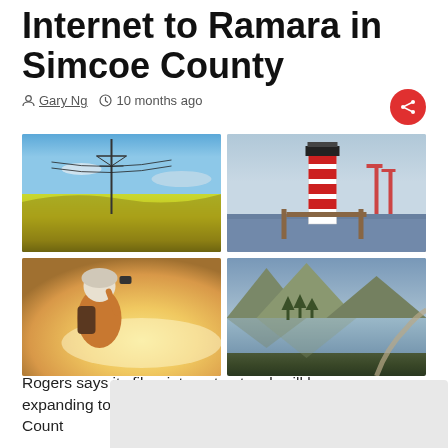Internet to Ramara in Simcoe County
Gary Ng   10 months ago
[Figure (photo): 2x2 grid of four photos: (1) yellow canola field with power transmission tower under blue sky, (2) white-and-red lighthouse by a harbour with cranes, (3) person with backpack taking photo toward bright sky, (4) scenic lake with mountains and winding road]
Rogers says its fibre internet network will be expanding to the Township of Ramara in Simcoe Count